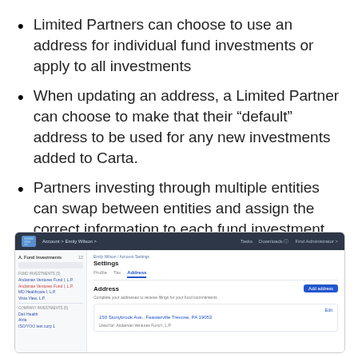Limited Partners can choose to use an address for individual fund investments or apply to all investments
When updating an address, a Limited Partner can choose to make that their “default” address to be used for any new investments added to Carta.
Partners investing through multiple entities can swap between entities and assign the correct information to each fund investment.
[Figure (screenshot): Screenshot of Carta platform showing account settings page with Address tab active, displaying an address entry '150 Stonybrook Ave., Feasterville Trevose, PA 19053' used for Andaman Ventures Fund I, L.P., with an Add address button]